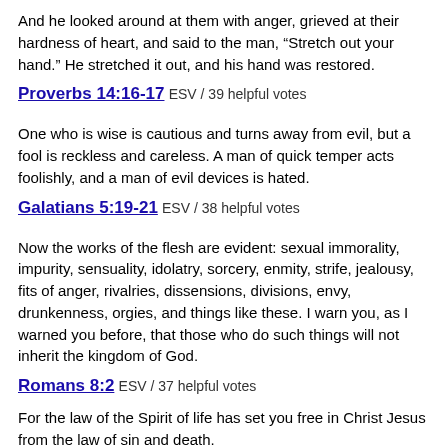And he looked around at them with anger, grieved at their hardness of heart, and said to the man, “Stretch out your hand.” He stretched it out, and his hand was restored.
Proverbs 14:16-17 ESV / 39 helpful votes
One who is wise is cautious and turns away from evil, but a fool is reckless and careless. A man of quick temper acts foolishly, and a man of evil devices is hated.
Galatians 5:19-21 ESV / 38 helpful votes
Now the works of the flesh are evident: sexual immorality, impurity, sensuality, idolatry, sorcery, enmity, strife, jealousy, fits of anger, rivalries, dissensions, divisions, envy, drunkenness, orgies, and things like these. I warn you, as I warned you before, that those who do such things will not inherit the kingdom of God.
Romans 8:2 ESV / 37 helpful votes
For the law of the Spirit of life has set you free in Christ Jesus from the law of sin and death.